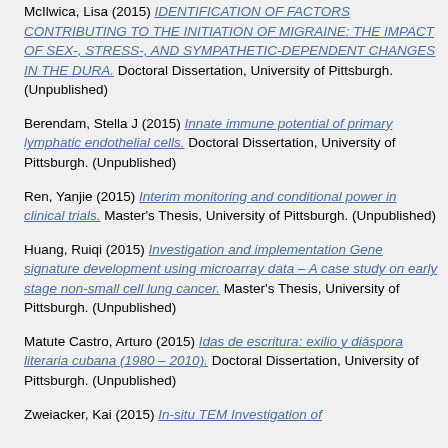McIlwica, Lisa (2015) IDENTIFICATION OF FACTORS CONTRIBUTING TO THE INITIATION OF MIGRAINE: THE IMPACT OF SEX-, STRESS-, AND SYMPATHETIC-DEPENDENT CHANGES IN THE DURA. Doctoral Dissertation, University of Pittsburgh. (Unpublished)
Berendam, Stella J (2015) Innate immune potential of primary lymphatic endothelial cells. Doctoral Dissertation, University of Pittsburgh. (Unpublished)
Ren, Yanjie (2015) Interim monitoring and conditional power in clinical trials. Master's Thesis, University of Pittsburgh. (Unpublished)
Huang, Ruiqi (2015) Investigation and implementation Gene signature development using microarray data – A case study on early stage non-small cell lung cancer. Master's Thesis, University of Pittsburgh. (Unpublished)
Matute Castro, Arturo (2015) Idas de escritura: exilio y diáspora literaria cubana (1980 – 2010). Doctoral Dissertation, University of Pittsburgh. (Unpublished)
Zweiacker, Kai (2015) In-situ TEM Investigation of